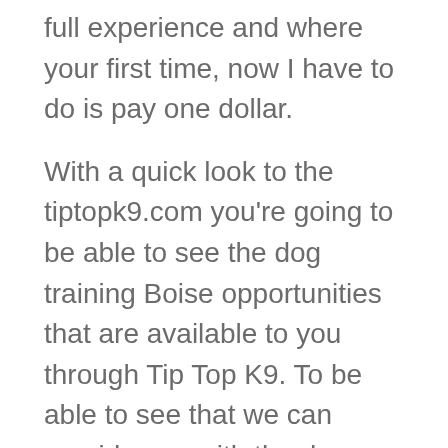full experience and where your first time, now I have to do is pay one dollar.
With a quick look to the tiptopk9.com you're going to be able to see the dog training Boise opportunities that are available to you through Tip Top K9. To be able to see that we can provide you with the dog training course, but we also have puppy and potty training classes available to you as well. Group classes, aggressive dog training, and they all going to be based off of the size, the age, and the need to be a dog. For additional details on this, to his give us a cause would absolute